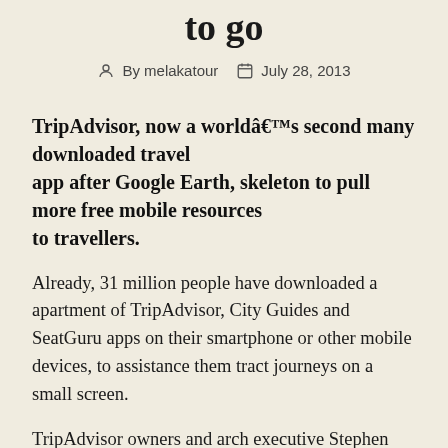to go
By melakatour   July 28, 2013
TripAdvisor, now a worldâs second many downloaded travel app after Google Earth, skeleton to pull more free mobile resources to travellers.
Already, 31 million people have downloaded a apartment of TripAdvisor, City Guides and SeatGuru apps on their smartphone or other mobile devices, to assistance them tract journeys on a small screen.
TripAdvisor owners and arch executive Stephen Kaufer